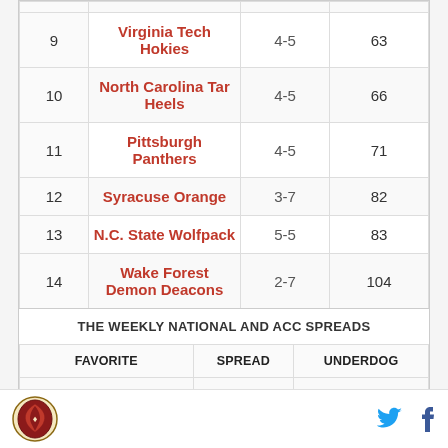|  | Team | Record | Score |
| --- | --- | --- | --- |
| 9 | Virginia Tech Hokies | 4-5 | 63 |
| 10 | North Carolina Tar Heels | 4-5 | 66 |
| 11 | Pittsburgh Panthers | 4-5 | 71 |
| 12 | Syracuse Orange | 3-7 | 82 |
| 13 | N.C. State Wolfpack | 5-5 | 83 |
| 14 | Wake Forest Demon Deacons | 2-7 | 104 |
| FAVORITE | SPREAD | UNDERDOG |
| --- | --- | --- |
| at USC | 17.5 | California |
| at Georgia Tech | 7 | Clemson |